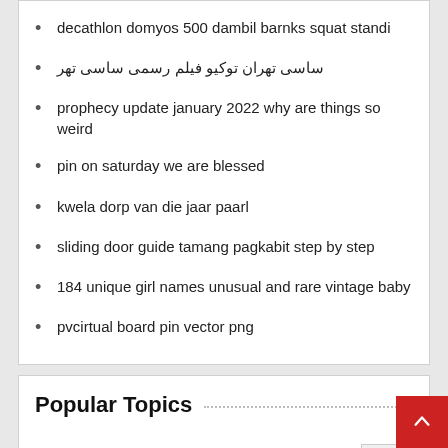decathlon domyos 500 dambil barnks squat standi
ساسی تهران توکیو فیلم رسمی ساسی تهر
prophecy update january 2022 why are things so weird
pin on saturday we are blessed
kwela dorp van die jaar paarl
sliding door guide tamang pagkabit step by step
184 unique girl names unusual and rare vintage baby
pvcirtual board pin vector png
Popular Topics
| Topic | Count |
| --- | --- |
| Entertainment | 26 |
| World | 20 |
| Business |  |